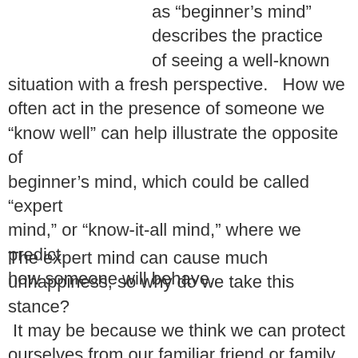as “beginner’s mind” describes the practice of seeing a well-known situation with a fresh perspective.   How we often act in the presence of someone we “know well” can help illustrate the opposite of beginner’s mind, which could be called “expert mind,” or “know-it-all mind,” where we predict how someone will behave.
The expert mind can cause much unhappiness, so why do we take this stance?  It may be because we think we can protect ourselves from our familiar friend or family